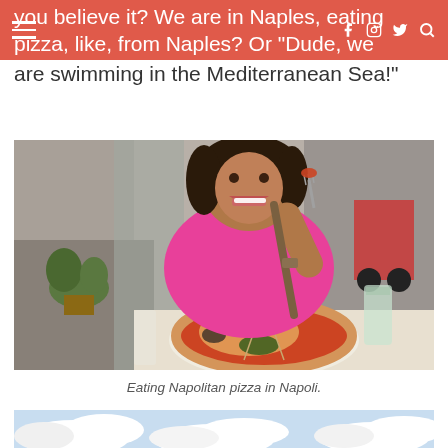Navigation bar with hamburger menu and social icons (Facebook, Instagram, Twitter, Search)
you believe it? We are in Naples, eating pizza, like, from Naples? Or "Dude, we are swimming in the Mediterranean Sea!"
[Figure (photo): A woman in a pink shirt eating Neapolitan pizza at an outdoor restaurant in Naples, Italy. She is smiling and holding a fork with pizza. A whole Margherita pizza is on the table in front of her, along with a glass of water. Street scene visible in background.]
Eating Napolitan pizza in Napoli.
[Figure (photo): Partial view of clouds and blue sky, appears to be an aerial or sky photograph, cropped at bottom of page.]